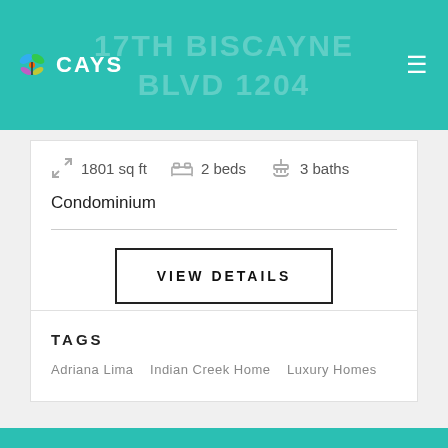CAYS — 17TH BISCAYNE BLVD 1204
1801 sq ft   2 beds   3 baths
Condominium
VIEW DETAILS
TAGS
Adriana Lima   Indian Creek Home   Luxury Homes